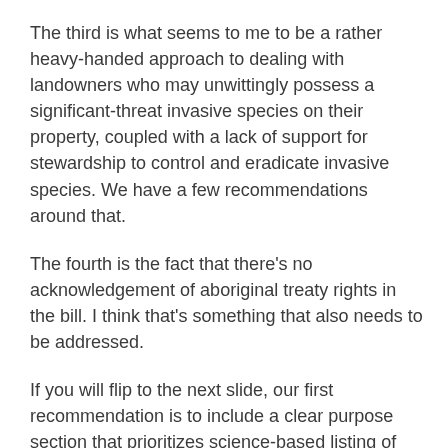The third is what seems to me to be a rather heavy-handed approach to dealing with landowners who may unwittingly possess a significant-threat invasive species on their property, coupled with a lack of support for stewardship to control and eradicate invasive species. We have a few recommendations around that.
The fourth is the fact that there's no acknowledgement of aboriginal treaty rights in the bill. I think that's something that also needs to be addressed.
If you will flip to the next slide, our first recommendation is to include a clear purpose section that prioritizes science-based listing of invasive species, prevention, interjurisdictional co-operation, and support for stewardship in the control and eradication of invasive species. What you see on this page are black words, which are our recommendations, and red words, which are our suggested amendments to the bill. The actual wording changes are